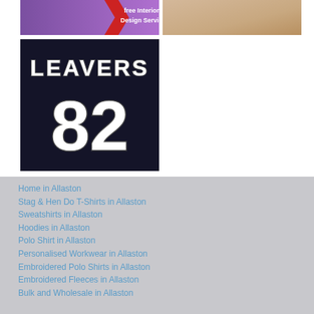[Figure (photo): Top left image showing partial view of interior design service text with purple background and red chevron, text reads 'free Interior Design Service']
[Figure (photo): Top right image showing a plain beige/skin tone background, close-up detail]
[Figure (photo): Main large photo of a dark navy/black sports jersey with white text 'LEAVERS' at the top and large white number '82' below]
Home in Allaston
Stag & Hen Do T-Shirts in Allaston
Sweatshirts in Allaston
Hoodies in Allaston
Polo Shirt in Allaston
Personalised Workwear in Allaston
Embroidered Polo Shirts in Allaston
Embroidered Fleeces in Allaston
Bulk and Wholesale in Allaston